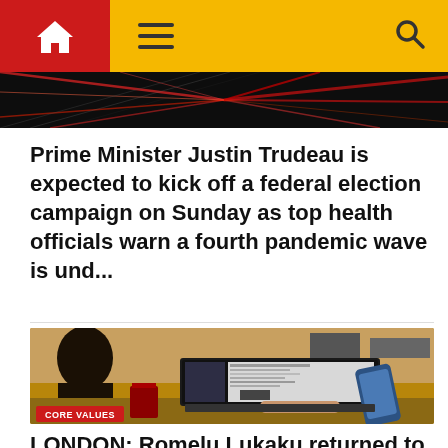Navigation bar with home icon, hamburger menu, and search icon
[Figure (photo): Abstract light streaks, dark background with red and colored rays]
Prime Minister Justin Trudeau is expected to kick off a federal election campaign on Sunday as top health officials warn a fourth pandemic wave is und...
[Figure (photo): Person using laptop and smartphone at a desk, with CORE VALUES label badge]
CORE VALUES
LONDON: Romelu Lukaku returned to Chelsea